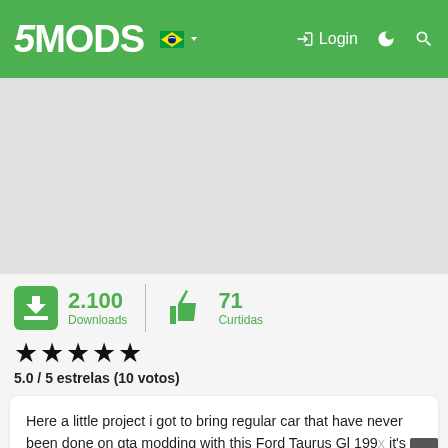5MODS — Login
[Figure (screenshot): Gray blank area representing a large image/advertisement placeholder]
2.100 Downloads  |  71 Curtidas
★★★★★
5.0 / 5 estrelas (10 votos)
Here a little project i got to bring regular car that have never been done on gta modding with this Ford Taurus Gl 199x it's the first time i try to implement an interior to a model that havn't so their might be some bad looking stuff , little hole etc i'm aware of that but in majority it's not notable, and could receive update